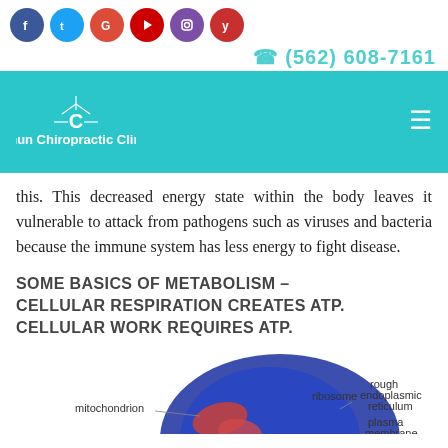Social media icons: Facebook, Twitter, Google, YouTube, Instagram, Yelp
(562) 608-7161
[Figure (logo): Chun Chiropractic Clinic logo on teal background with decorative C symbol]
this. This decreased energy state within the body leaves it vulnerable to attack from pathogens such as viruses and bacteria because the immune system has less energy to fight disease.
SOME BASICS OF METABOLISM – CELLULAR RESPIRATION CREATES ATP. CELLULAR WORK REQUIRES ATP.
[Figure (illustration): Cell diagram showing mitochondrion, ribosome, rough endoplasmic reticulum, and plasma membrane labels on a circular cell illustration]